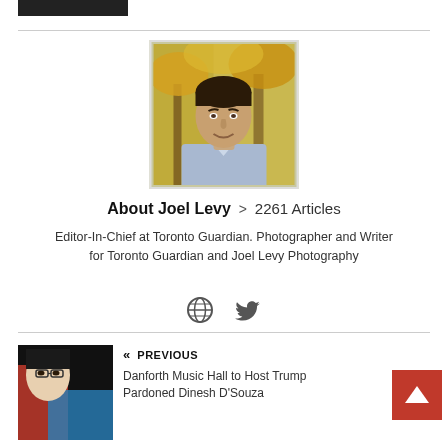[Figure (photo): Black rectangular button/bar at top left of page]
[Figure (photo): Headshot of Joel Levy, a young man in a light blue shirt outdoors with autumn foliage background]
About Joel Levy > 2261 Articles
Editor-In-Chief at Toronto Guardian. Photographer and Writer for Toronto Guardian and Joel Levy Photography
[Figure (other): Social icons: globe/website icon and Twitter bird icon]
[Figure (photo): Thumbnail image for previous article: stylized portrait with red and blue color blocks, appears to be Dinesh D'Souza]
« PREVIOUS
Danforth Music Hall to Host Trump Pardoned Dinesh D'Souza